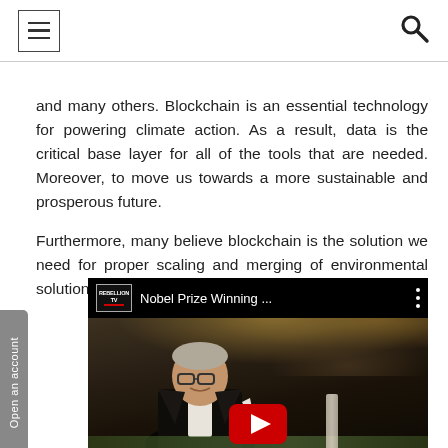[hamburger menu] [search icon]
and many others. Blockchain is an essential technology for powering climate action. As a result, data is the critical base layer for all of the tools that are needed. Moreover, to move us towards a more sustainable and prosperous future.

Furthermore, many believe blockchain is the solution we need for proper scaling and merging of environmental solutions.
[Figure (screenshot): YouTube video embed showing 'Nobel Prize Winning ...' from REBELLION TV channel, with a photo of a man in a tuxedo at what appears to be a formal ceremony, with audience in background. A YouTube play button is visible at the bottom.]
Open an account